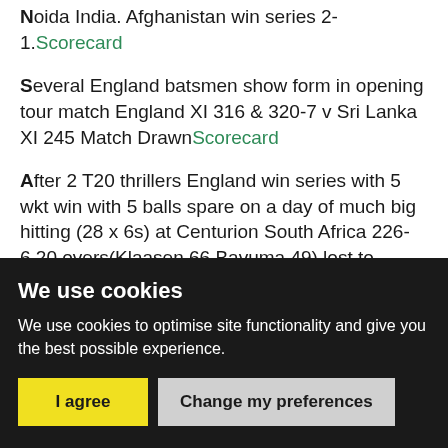Noida India. Afghanistan win series 2-1. Scorecard
Several England batsmen show form in opening tour match England XI 316 & 320-7 v Sri Lanka XI 245 Match Drawn Scorecard
After 2 T20 thrillers England win series with 5 wkt win with 5 balls spare on a day of much big hitting (28 x 6s) at Centurion South Africa 226-6,20 overs(Klaasen 66,Bavuma 49) lost to England
We use cookies
We use cookies to optimise site functionality and give you the best possible experience.